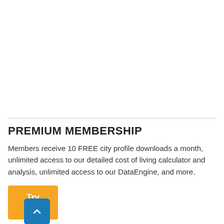PREMIUM MEMBERSHIP
Members receive 10 FREE city profile downloads a month, unlimited access to our detailed cost of living calculator and analysis, unlimited access to our DataEngine, and more.
Try Now